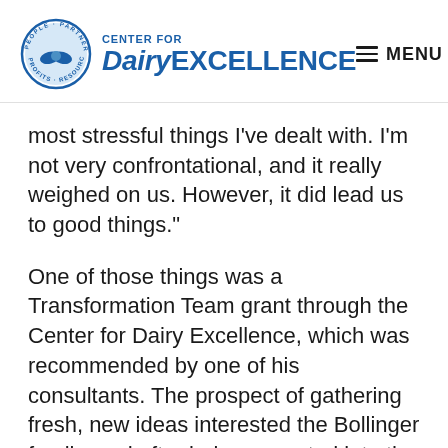[Figure (logo): Center for Dairy Excellence logo with circular emblem showing handshake and text 'PEOPLE · PARTNERS · RESOURCES · PROFITS', next to stylized 'CENTER FOR DairyEXCELLENCE' text in blue, and a hamburger menu icon labeled MENU on the right]
most stressful things I’ve dealt with. I’m not very confrontational, and it really weighed on us. However, it did lead us to good things.”
One of those things was a Transformation Team grant through the Center for Dairy Excellence, which was recommended by one of his consultants. The prospect of gathering fresh, new ideas interested the Bollinger family, and after being accepted into the program, they established a transformation team that consisted of their farm family, accountant, lender, veterinarian, Penn State Extension representative, Center for Dairy Excellence